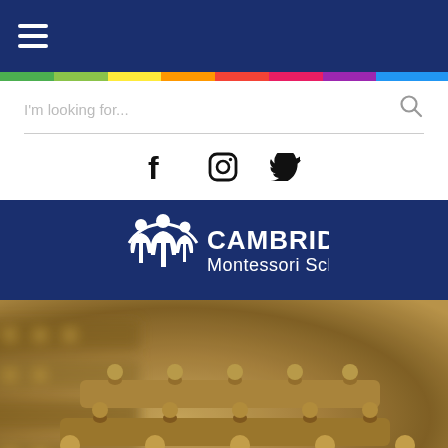Navigation menu bar with hamburger icon
[Figure (screenshot): Rainbow gradient stripe divider]
I'm looking for...
[Figure (infographic): Social media icons: Facebook, Instagram, Twitter]
[Figure (logo): Cambridge Montessori School logo on dark blue background with stylized figures icon]
[Figure (photo): Close-up photo of Montessori wooden knobbed puzzle boards with round pegs/knobs]
LEARNING